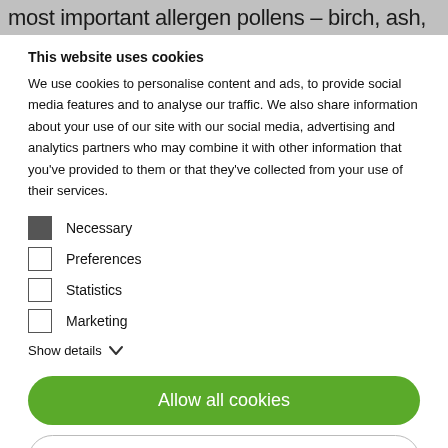most important allergen pollens – birch, ash,
This website uses cookies
We use cookies to personalise content and ads, to provide social media features and to analyse our traffic. We also share information about your use of our site with our social media, advertising and analytics partners who may combine it with other information that you've provided to them or that they've collected from your use of their services.
Necessary (checked)
Preferences
Statistics
Marketing
Show details
Allow all cookies
Use necessary cookies only